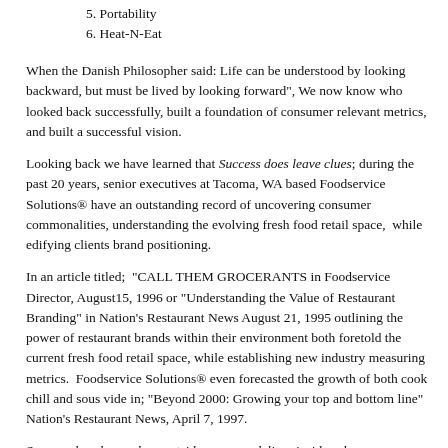5. Portability
6. Heat-N-Eat
When the Danish Philosopher said: Life can be understood by looking backward, but must be lived by looking forward", We now know who looked back successfully, built a foundation of consumer relevant metrics, and built a successful vision.
Looking back we have learned that Success does leave clues; during the past 20 years, senior executives at Tacoma, WA based Foodservice Solutions® have an outstanding record of uncovering consumer commonalities, understanding the evolving fresh food retail space,  while edifying clients brand positioning.
In an article titled;  "CALL THEM GROCERANTS in Foodservice Director, August15, 1996 or "Understanding the Value of Restaurant Branding" in Nation's Restaurant News August 21, 1995 outlining the power of restaurant brands within their environment both foretold the current fresh food retail space, while establishing new industry measuring metrics.  Foodservice Solutions® even forecasted the growth of both cook chill and sous vide in; "Beyond 2000: Growing your top and bottom line" Nation's Restaurant News, April 7, 1997.
Success does leave clues outside eyes can deliver inside sales...